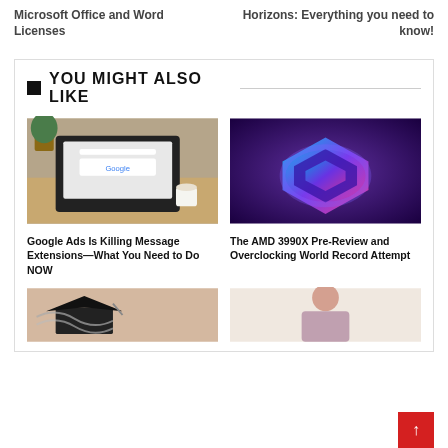Microsoft Office and Word Licenses
Horizons: Everything you need to know!
YOU MIGHT ALSO LIKE
[Figure (photo): Person using laptop with Google open on screen, coffee cup on table]
Google Ads Is Killing Message Extensions—What You Need to Do NOW
[Figure (photo): AMD 3990X CPU chip glowing with purple and blue light on dark background]
The AMD 3990X Pre-Review and Overclocking World Record Attempt
[Figure (photo): Graduation cap and items partially visible at bottom left]
[Figure (photo): Person partially visible at bottom right]